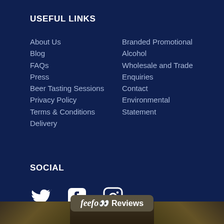USEFUL LINKS
About Us
Blog
FAQs
Press
Beer Tasting Sessions
Privacy Policy
Terms & Conditions
Delivery
Branded Promotional
Alcohol
Wholesale and Trade
Enquiries
Contact
Environmental
Statement
SOCIAL
[Figure (illustration): Social media icons: Twitter bird icon, Facebook f icon, Instagram camera icon]
[Figure (logo): Feefo reviews badge with stylized feefo text, yellow eyes logo, and Reviews text on dark olive/brown background]